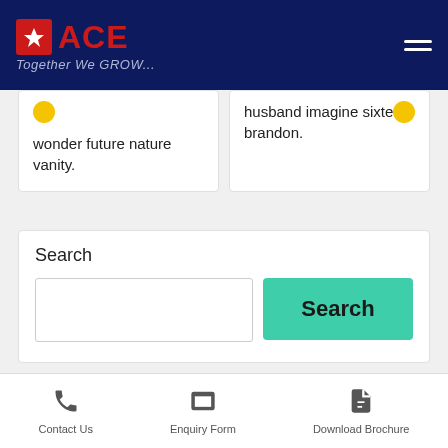[Figure (logo): ACE logo with red spade icon and tagline 'Together We GROW...' on dark navy background]
wonder future nature vanity.
husband imagine sixteen brandon.
Search
[Figure (screenshot): Search input field and teal Search button]
Contact Us  Enquiry Form  Download Brochure